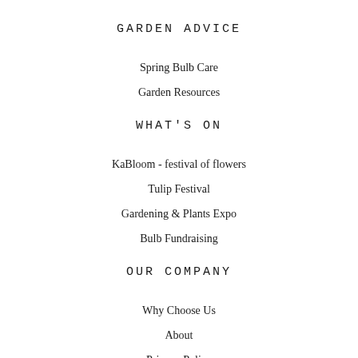GARDEN ADVICE
Spring Bulb Care
Garden Resources
WHAT'S ON
KaBloom - festival of flowers
Tulip Festival
Gardening & Plants Expo
Bulb Fundraising
OUR COMPANY
Why Choose Us
About
Privacy Policy
Contact Us